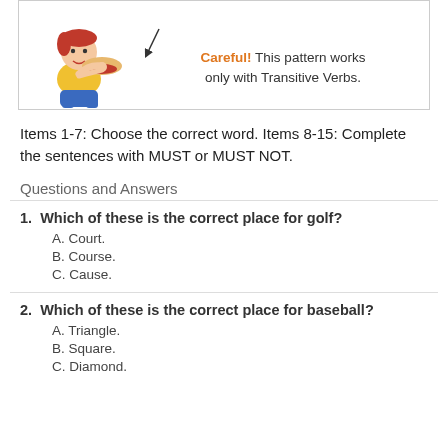[Figure (illustration): Cartoon of a child eating a hot dog, with an arrow and text: Careful! This pattern works only with Transitive Verbs.]
Items 1-7: Choose the correct word. Items 8-15: Complete the sentences with MUST or MUST NOT.
Questions and Answers
1. Which of these is the correct place for golf? A. Court. B. Course. C. Cause.
2. Which of these is the correct place for baseball? A. Triangle. B. Square. C. Diamond.